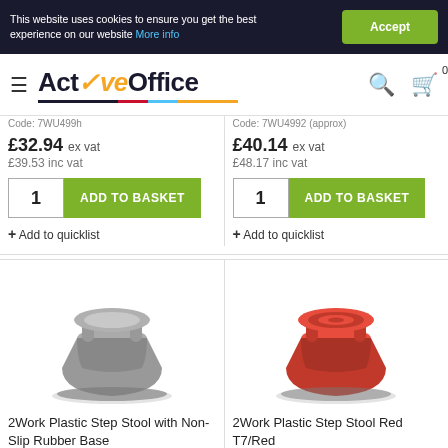This website uses cookies to ensure you get the best experience on our website More info
[Figure (logo): ActiveOffice logo with orange checkmark and colored underline]
Code: 7WU499h
Code: 7WU4992 (approx)
£32.94 ex vat
£39.53 inc vat
£40.14 ex vat
£48.17 inc vat
+ Add to quicklist
+ Add to quicklist
[Figure (photo): Grey 2Work Plastic Step Stool with Non-Slip Rubber Base]
[Figure (photo): Red 2Work Plastic Step Stool Red T7/Red]
2Work Plastic Step Stool with Non-Slip Rubber Base
2Work Plastic Step Stool Red T7/Red